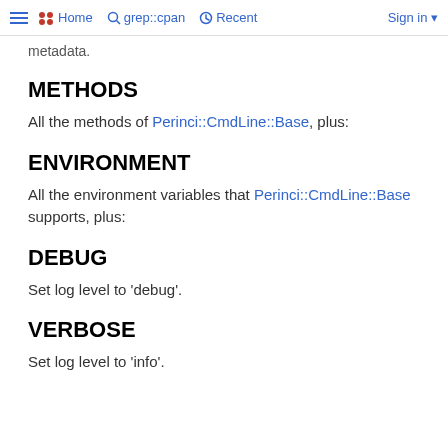≡ •• Home  🔍 grep::cpan  🕐 Recent  Sign in ▾
metadata.
METHODS
All the methods of Perinci::CmdLine::Base, plus:
ENVIRONMENT
All the environment variables that Perinci::CmdLine::Base supports, plus:
DEBUG
Set log level to 'debug'.
VERBOSE
Set log level to 'info'.